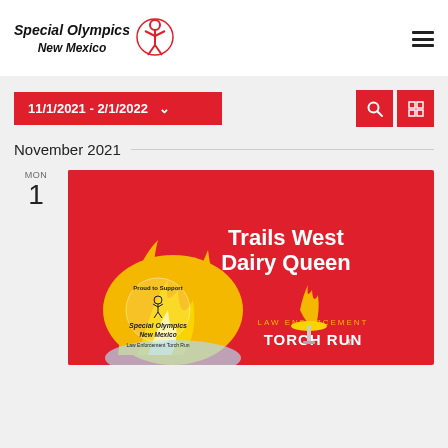[Figure (logo): Special Olympics New Mexico logo with italic bold text and red figure icon]
[Figure (other): Hamburger menu icon (three horizontal lines)]
[Figure (other): Date range filter pill showing 11/1/2021 - 2/1/2022 with dropdown arrow, and two red icon buttons (search and grid view)]
November 2021
MON
1
[Figure (photo): Trails West Dairy Queen Law Enforcement Torch Run promotional image featuring a flame graphic and Special Olympics New Mexico logo on red background]